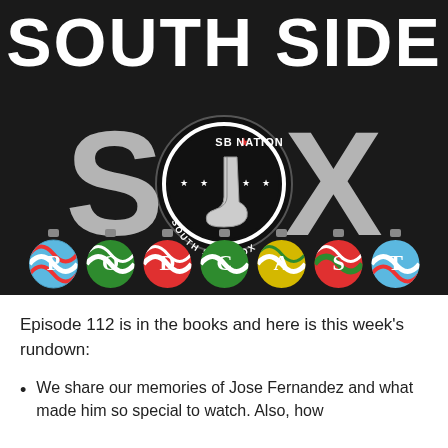[Figure (logo): South Side Sox Podcast logo on dark background. Large white bold text reads SOUTH SIDE on top, then SOX in large grey letters with an SB Nation South Side Sox circular emblem replacing the O. Below is the word PODCAST spelled out in colorful Christmas ornament balls.]
Episode 112 is in the books and here is this week's rundown:
We share our memories of Jose Fernandez and what made him so special to watch. Also, how